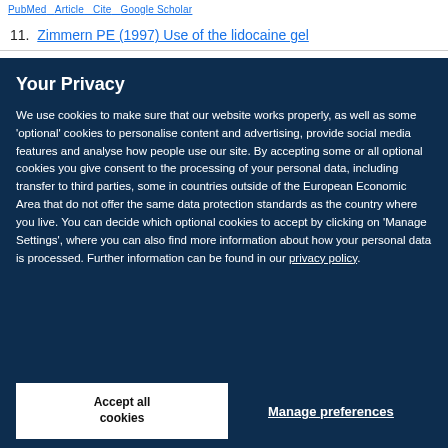PubMed  Article  Cite  Google Scholar
11. Zimmern PE (1997) Use of the lidocaine gel
Your Privacy
We use cookies to make sure that our website works properly, as well as some ‘optional’ cookies to personalise content and advertising, provide social media features and analyse how people use our site. By accepting some or all optional cookies you give consent to the processing of your personal data, including transfer to third parties, some in countries outside of the European Economic Area that do not offer the same data protection standards as the country where you live. You can decide which optional cookies to accept by clicking on ‘Manage Settings’, where you can also find more information about how your personal data is processed. Further information can be found in our privacy policy.
Accept all cookies
Manage preferences